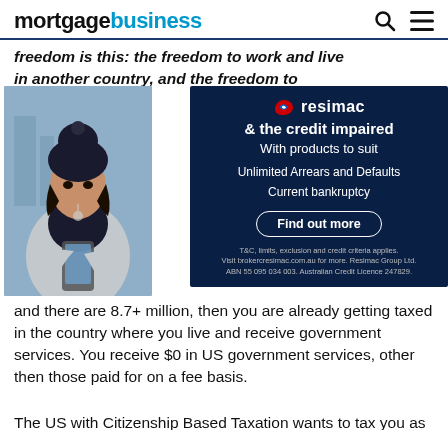mortgagebusiness
freedom is this: the freedom to work and live in another country, and the freedom to le...
[Figure (photo): Young woman in winter hat and grey jacket looking down at her smartphone, outdoors urban background]
[Figure (infographic): Resimac advertisement: '& the credit impaired With products to suit. Unlimited Arrears and Defaults. Current bankruptcy. Find out more. T&C, limits, exclusion and credit criteria applies. Visit brokercresimac.com.au for more. Resimac Group Ltd. ABN 55 095 034 003. Australian Credit Licence 247829.']
A... in... p... T... 9... c... and there are 8.7+ million, then you are already getting taxed in the country where you live and receive government services. You receive $0 in US government services, other then those paid for on a fee basis.
The US with Citizenship Based Taxation wants to tax you as if you live in the US. The